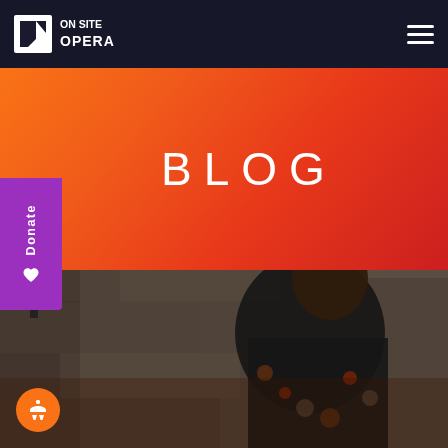On Site Opera
BLOG
[Figure (photo): A man wearing a floral patterned jacket standing in front of a stone building wall, looking to the side.]
Donate